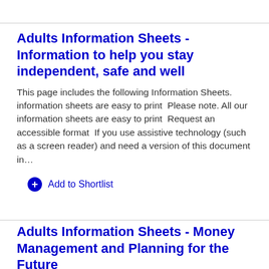Adults Information Sheets - Information to help you stay independent, safe and well
This page includes the following Information Sheets. information sheets are easy to print  Please note. All our information sheets are easy to print  Request an accessible format  If you use assistive technology (such as a screen reader) and need a version of this document in…
Add to Shortlist
Adults Information Sheets - Money Management and Planning for the Future